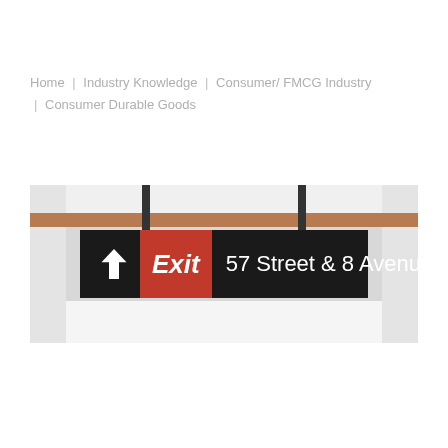Home  |  Industry Knowledge  |  Consumer/ FMCG Industry  |  Consumer Durable Goods
[Figure (photo): A New York City subway exit sign reading 'Exit 57 Street & 8 Avenue' with an upward arrow, mounted overhead in a subway station. The sign has a black background with an orange-red 'Exit' box and white text.]